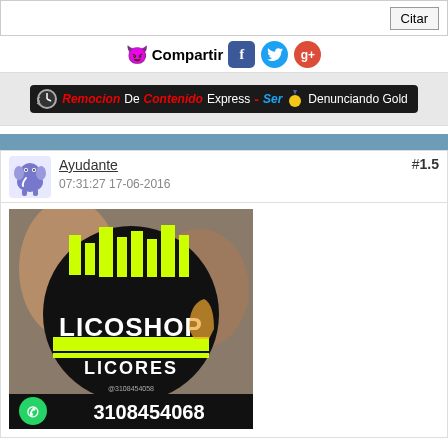Citar
😈Compartir
[Figure (infographic): Banner: Remocion De Contenido Express - Ser Denunciando Gold]
Ayudante
#1.5
07:31:27 17-06-2016
[Figure (photo): Licoshop Licores logo on dark circular background with people celebrating, WhatsApp number 3108454068 at bottom]